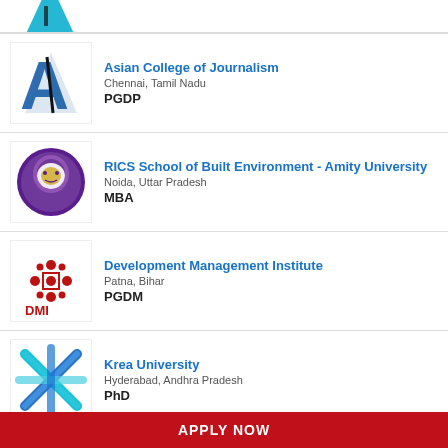[Figure (logo): Partial logo visible at top of page, blue triangular/arrow shape]
Asian College of Journalism
Chennai, Tamil Nadu
PGDP
RICS School of Built Environment - Amity University
Noida, Uttar Pradesh
MBA
Development Management Institute
Patna, Bihar
PGDM
Krea University
Hyderabad, Andhra Pradesh
PhD
National Institute of Bank Management
APPLY NOW